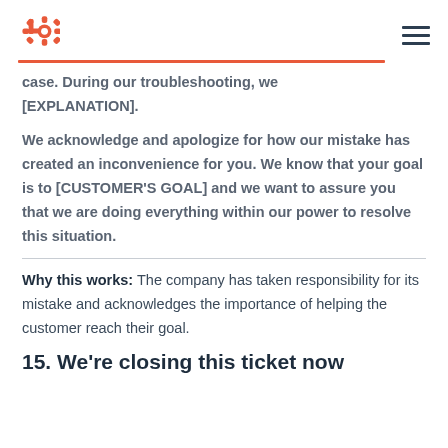HubSpot logo and menu
case. During our troubleshooting, we [EXPLANATION].
We acknowledge and apologize for how our mistake has created an inconvenience for you. We know that your goal is to [CUSTOMER'S GOAL] and we want to assure you that we are doing everything within our power to resolve this situation.
Why this works: The company has taken responsibility for its mistake and acknowledges the importance of helping the customer reach their goal.
15. We're closing this ticket now